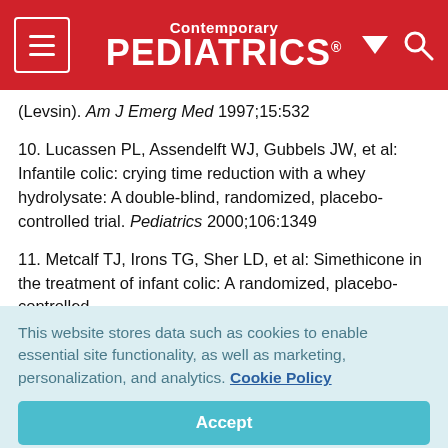Contemporary PEDIATRICS
(Levsin). Am J Emerg Med 1997;15:532
10. Lucassen PL, Assendelft WJ, Gubbels JW, et al: Infantile colic: crying time reduction with a whey hydrolysate: A double-blind, randomized, placebo-controlled trial. Pediatrics 2000;106:1349
11. Metcalf TJ, Irons TG, Sher LD, et al: Simethicone in the treatment of infant colic: A randomized, placebo-controlled,
This website stores data such as cookies to enable essential site functionality, as well as marketing, personalization, and analytics. Cookie Policy
Accept
Deny